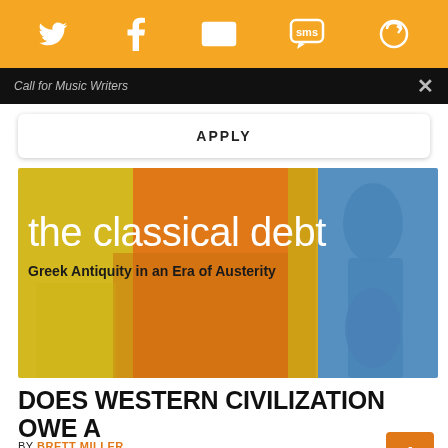Social sharing bar with Twitter, Facebook, Email, SMS, and another icon
Call for Music Writers
APPLY
[Figure (illustration): Book cover for 'the classical debt: Greek Antiquity in an Era of Austerity' with colorful geometric background (yellow, orange, blue) and a blue-tinted statue figure on the right]
DOES WESTERN CIVILIZATION OWE A “CLASSICAL DEBT” TO GREECE?
BY BRETT MILLER
Hanink takes us on an exploration of ancient and modern